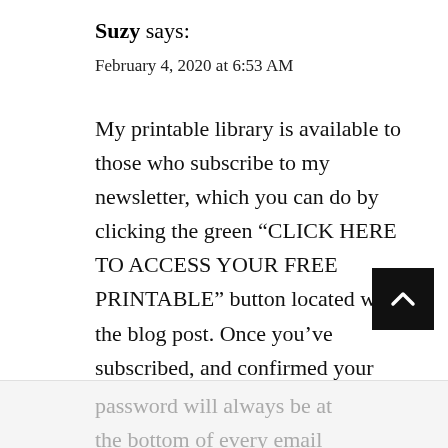Suzy says:
February 4, 2020 at 6:53 AM
My printable library is available to those who subscribe to my newsletter, which you can do by clicking the green “CLICK HERE TO ACCESS YOUR FREE PRINTABLE” button located within the blog post. Once you’ve subscribed, and confirmed your subscription, you’ll receive a welcome email from me with the password in it. Thereafter, the
password will always be at the bottom of every email that I send. 😊